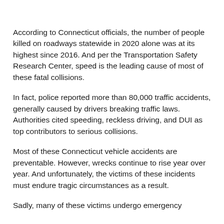According to Connecticut officials, the number of people killed on roadways statewide in 2020 alone was at its highest since 2016. And per the Transportation Safety Research Center, speed is the leading cause of most of these fatal collisions.
In fact, police reported more than 80,000 traffic accidents, generally caused by drivers breaking traffic laws. Authorities cited speeding, reckless driving, and DUI as top contributors to serious collisions.
Most of these Connecticut vehicle accidents are preventable. However, wrecks continue to rise year over year. And unfortunately, the victims of these incidents must endure tragic circumstances as a result.
Sadly, many of these victims undergo emergency